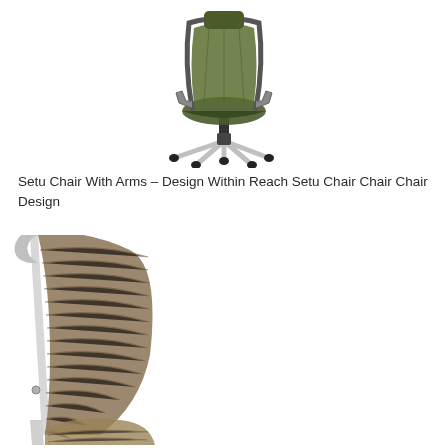[Figure (photo): Green mesh office chair with arms and five-star aluminum base with casters, viewed from a three-quarter front angle on white background]
Setu Chair With Arms – Design Within Reach Setu Chair Chair Chair Design
[Figure (photo): Close-up of a tan/brown mesh lounge chair back and seat on white metal frame, viewed from a three-quarter angle on white background]